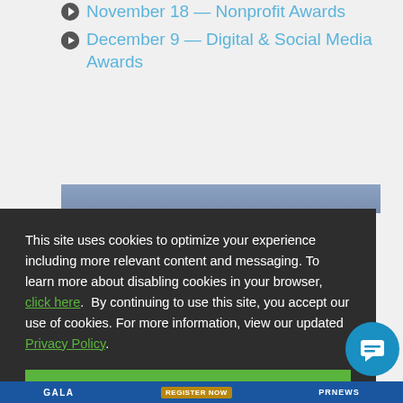November 18 — Nonprofit Awards
December 9 — Digital & Social Media Awards
This site uses cookies to optimize your experience including more relevant content and messaging. To learn more about disabling cookies in your browser, click here.  By continuing to use this site, you accept our use of cookies. For more information, view our updated Privacy Policy.
I Consent